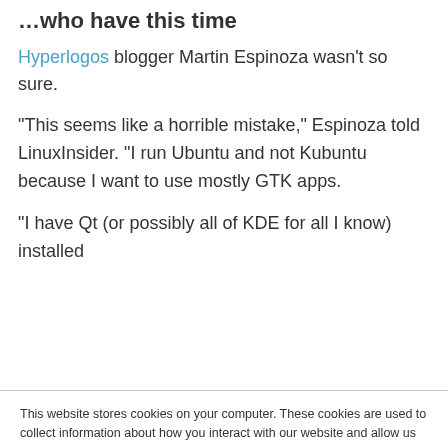…who have this time
Hyperlogos blogger Martin Espinoza wasn't so sure.
“This seems like a horrible mistake,” Espinoza told LinuxInsider. “I run Ubuntu and not Kubuntu because I want to use mostly GTK apps.
“I have Qt (or possibly all of KDE for all I know) installed
This website stores cookies on your computer. These cookies are used to collect information about how you interact with our website and allow us to remember you. We use this information in order to improve and customize your browsing experience and for analytics and metrics about our visitors both on this website and other media. To find out more about the cookies we use, see our Privacy Policy. California residents have the right to direct us not to sell their personal information to third parties by filing an Opt-Out Request: Do Not Sell My Personal Info.